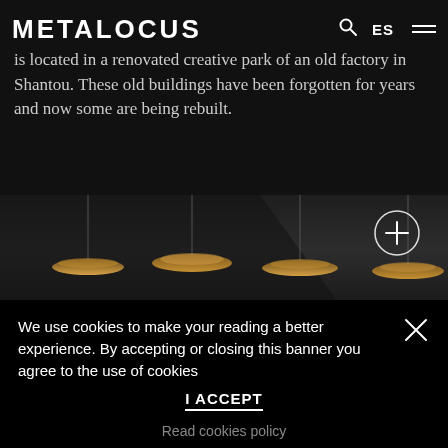METALOCUS | ES
is located in a renovated creative park of an old factory in Shantou. These old buildings have been forgotten for years and now some are being rebuilt.
[Figure (photo): Dark interior scene with multiple hanging pendant lamps glowing in warm gold tones, viewed from below in a dark architectural space. A circular plus (+) button overlay appears in the upper right of the image.]
We use cookies to make your reading a better experience. By accepting or closing this banner you agree to the use of cookies
I ACCEPT
Read cookies policy